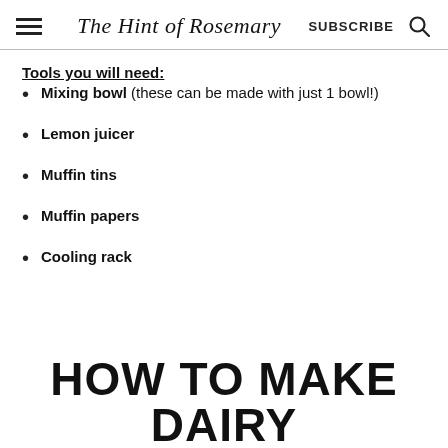The Hint of Rosemary | SUBSCRIBE
Tools you will need:
Mixing bowl (these can be made with just 1 bowl!)
Lemon juicer
Muffin tins
Muffin papers
Cooling rack
HOW TO MAKE DAIRY